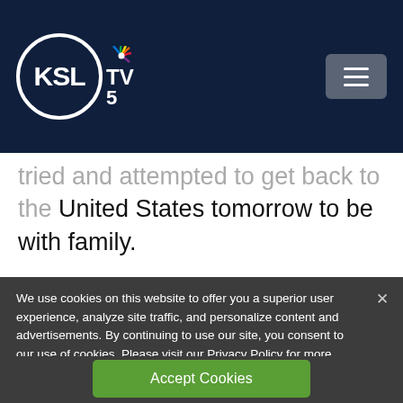KSL TV 5
...tried and attempted to get back to the United States tomorrow to be with family.
She also said she appreciated President Donald Trump's tweet about her family and how he offered to help clean up the drug ...
We use cookies on this website to offer you a superior user experience, analyze site traffic, and personalize content and advertisements. By continuing to use our site, you consent to our use of cookies. Please visit our Privacy Policy for more information.
Accept Cookies